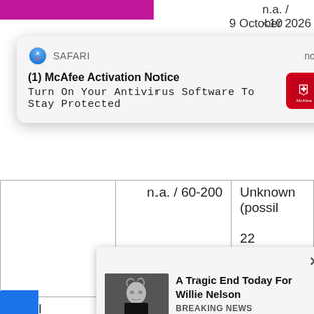[Figure (screenshot): Safari browser notification popup: '(1) McAfee Activation Notice - Turn On Your Antivirus Software To Stay Protected' with McAfee red icon]
| Israel | n.a. / 60-200 | Unknown (possil 22 September 1979) |
Source: Federation of American Scientists: Status of World Nuclear Forces". Fas.org. Early 2013.
[Figure (screenshot): Ad popup: 'A Tragic End Today For Willie Nelson' - Breaking News, with photo of elderly man in black]